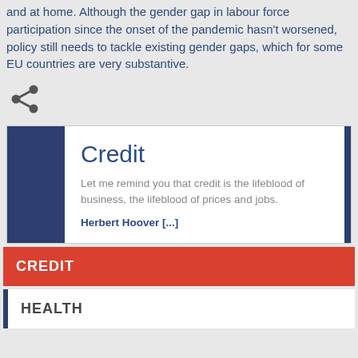and at home. Although the gender gap in labour force participation since the onset of the pandemic hasn't worsened, policy still needs to tackle existing gender gaps, which for some EU countries are very substantive.
[Figure (illustration): Share/social media icon (three connected circles forming a share symbol)]
Credit
Let me remind you that credit is the lifeblood of business, the lifeblood of prices and jobs.
Herbert Hoover [...]
CREDIT
HEALTH